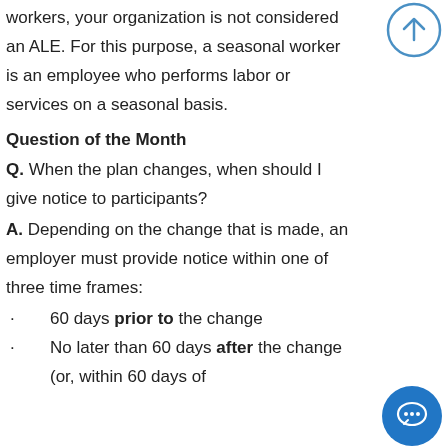workers, your organization is not considered an ALE. For this purpose, a seasonal worker is an employee who performs labor or services on a seasonal basis.
Question of the Month
Q. When the plan changes, when should I give notice to participants?
A. Depending on the change that is made, an employer must provide notice within one of three time frames:
· 60 days prior to the change
· No later than 60 days after the change (or, within 60 days of
[Figure (other): Scroll-to-top circular button with upward arrow, blue outline style, top right corner]
[Figure (other): Chat button, solid blue circle with speech bubble icon, bottom right corner]